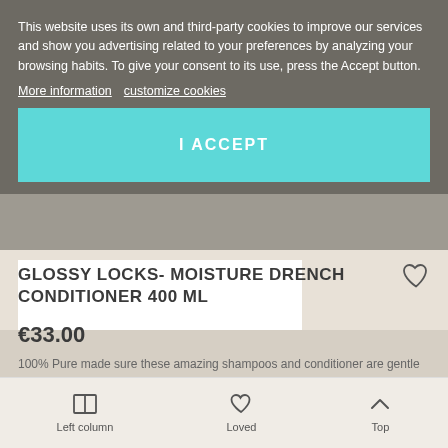This website uses its own and third-party cookies to improve our services and show you advertising related to your preferences by analyzing your browsing habits. To give your consent to its use, press the Accept button.
More information   customize cookies
I ACCEPT
GLOSSY LOCKS- MOISTURE DRENCH CONDITIONER 400 Ml
€33.00
100% Pure made sure these amazing shampoos and conditioner are gentle enough for all hair types, including color treated hair. None of these natural shampoos contain sulfates or any other detergents that can strip...
Left column   Loved   Top